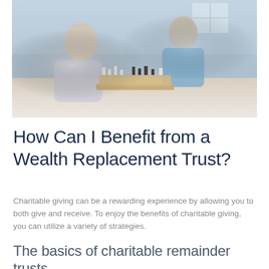[Figure (photo): An elderly man and a young boy sitting across from each other playing chess on a wooden board, in a bright indoor setting.]
How Can I Benefit from a Wealth Replacement Trust?
Charitable giving can be a rewarding experience by allowing you to both give and receive. To enjoy the benefits of charitable giving, you can utilize a variety of strategies.
The basics of charitable remainder trusts